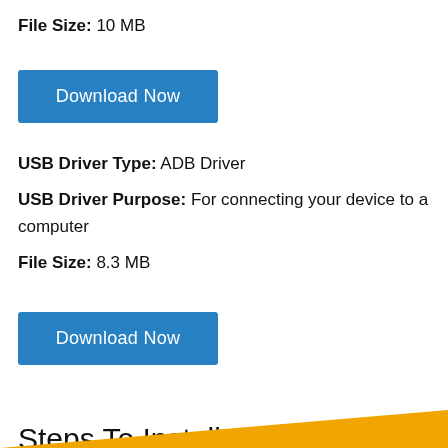File Size: 10 MB
[Figure (other): Blue 'Download Now' button]
USB Driver Type: ADB Driver
USB Driver Purpose: For connecting your device to a computer
File Size: 8.3 MB
[Figure (other): Blue 'Download Now' button]
Steps To Install Lenovo Tab M8 (3rd Gen) Mediatek Driver In Computer
Video Tutorial
[Figure (other): Orange diagonal banner at bottom of page]